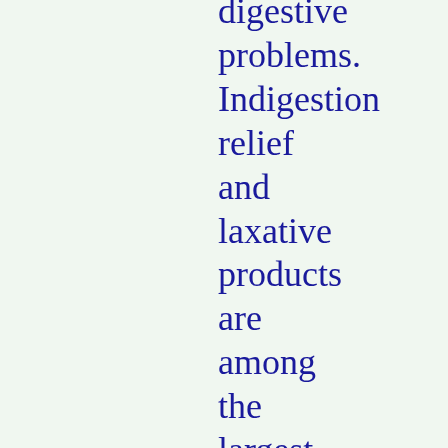digestive problems. Indigestion relief and laxative products are among the largest selling items in drug stores. Let's trace the